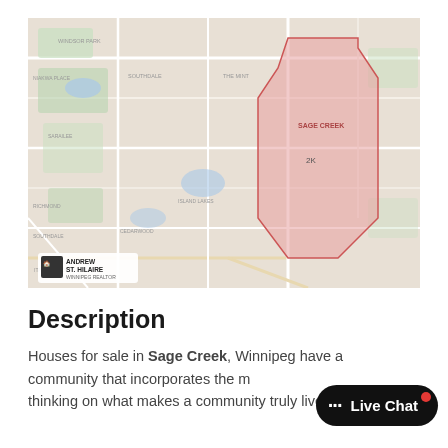[Figure (map): Google Maps view of Sage Creek neighborhood in Winnipeg, with a red shaded polygon highlighting the Sage Creek area. A logo for Andrew St. Hilaire Winnipeg Realtor is visible in the bottom-left corner of the map.]
Description
Houses for sale in Sage Creek, Winnipeg have a community that incorporates the m... thinking on what makes a community truly liveable.